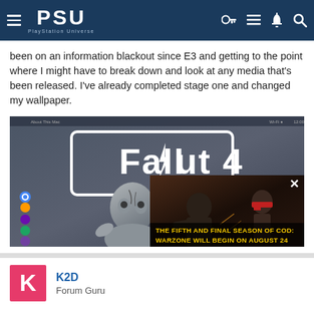PSU - PlayStation Universe
been on an information blackout since E3 and getting to the point where I might have to break down and look at any media that's been released. I've already completed stage one and changed my wallpaper.
[Figure (screenshot): Screenshot of a desktop with Fallout 4 wallpaper showing the Fallout 4 logo and a Ghoul character, with a video ad overlay for 'The Fifth and Final Season of COD: Warzone Will Begin on August 24']
K2D
Forum Guru